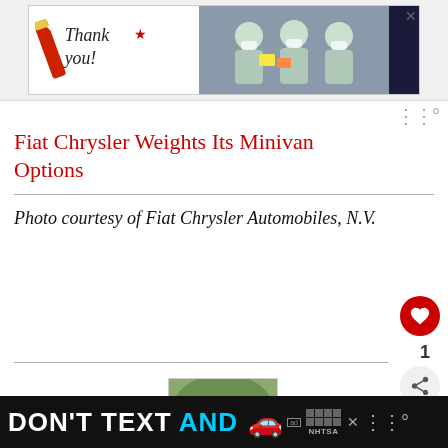[Figure (photo): Advertisement banner: 'Thank you!' with Operation Gratitude branding and healthcare workers photo]
Fiat Chrysler Weights Its Minivan Options
Photo courtesy of Fiat Chrysler Automobiles, N.V.
[Figure (photo): Author headshot: bald man with white beard in blue shirt]
Matthew Keegan
[Figure (photo): Bottom advertisement: DON'T TEXT AND [car emoji] with NHTSA branding]